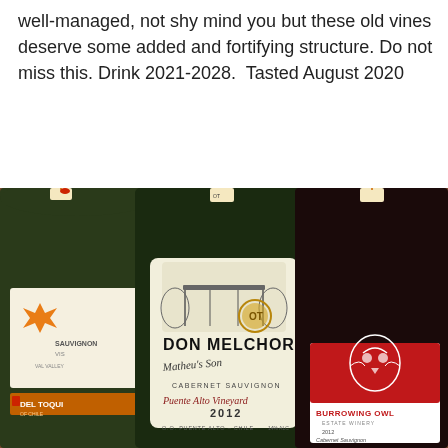well-managed, not shy mind you but these old vines deserve some added and fortifying structure. Do not miss this. Drink 2021-2028.  Tasted August 2020
[Figure (photo): Photo of three wine bottles side by side. Center bottle shows Don Melchor Cabernet Sauvignon Puente Alto Vineyard 2012 label with estate gateway illustration and gold stamp. Left bottle partially visible showing Sauvignon label and Del Toqui branding. Right bottle shows Burrowing Owl Estate Winery Cabernet Sauvignon label. Brown tile wall background.]